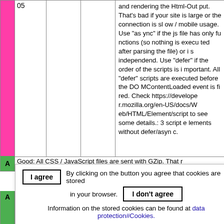|  | 05 |  |  | Description |
| --- | --- | --- | --- | --- |
|  | 05 |  |  | and rendering the Html-Output. That's bad if your site is large or the connection is slow / mobile usage. Use "async" if the js file has only functions (so nothing is executed after parsing the file) or is independend. Use "defer" if the order of the scripts is important. All "defer" scripts are executed before the DOMContentLoaded event is fired. Check https://developer.mozilla.org/en-US/docs/Web/HTML/Element/script to see some details.: 3 script elements without defer/async. |
A  Good: All CSS / JavaScript files are sent with GZip. That r
[Figure (screenshot): Cookie consent dialog overlay with 'I agree' button, 'I don't agree' button, and link to 'data protection#Cookies'. Text: 'By clicking on the button you agree that cookies are stored in your browser. Information on the stored cookies can be found at data protection#Cookies.']
A  G d